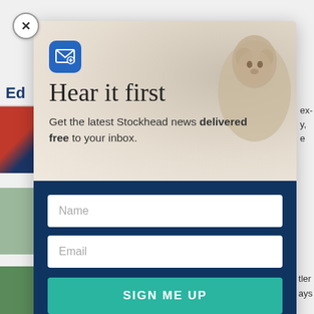[Figure (screenshot): Website newsletter signup modal popup. Top section shows an email/envelope icon on blue rounded square, large title 'Hear it first', subtitle 'Get the latest Stockhead news delivered free to your inbox.' with a marmot/groundhog animal in the background. Bottom dark blue section contains Name input field, Email input field, and a teal 'SIGN ME UP' button. A close (X) button is in the top-left corner.]